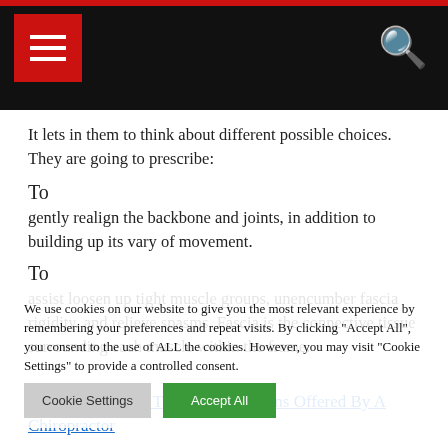Navigation bar with hamburger menu and search icon
It lets in them to think about different possible choices. They are going to prescribe:
To
gently realign the backbone and joints, in addition to building up its vary of movement.
To
assist loosen up tight muscle groups, unencumber fascia rigidity, and relieve spasms. Fascia is the connective tissue surrounding each muscle within the frame.
We use cookies on our website to give you the most relevant experience by remembering your preferences and repeat visits. By clicking "Accept All", you consent to the use of ALL the cookies. However, you may visit "Cookie Settings" to provide a controlled consent.
See also: Suitable Treatment for Teens Offered By A Chiropractor